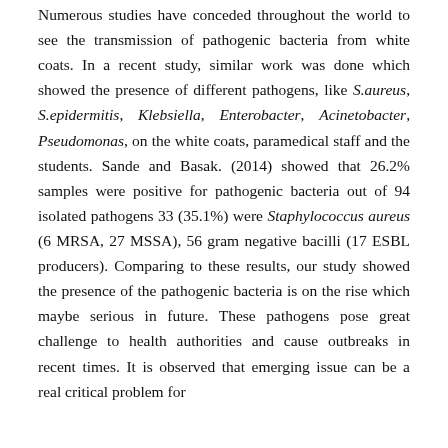Numerous studies have conceded throughout the world to see the transmission of pathogenic bacteria from white coats. In a recent study, similar work was done which showed the presence of different pathogens, like S.aureus, S.epidermitis, Klebsiella, Enterobacter, Acinetobacter, Pseudomonas, on the white coats, paramedical staff and the students. Sande and Basak. (2014) showed that 26.2% samples were positive for pathogenic bacteria out of 94 isolated pathogens 33 (35.1%) were Staphylococcus aureus (6 MRSA, 27 MSSA), 56 gram negative bacilli (17 ESBL producers). Comparing to these results, our study showed the presence of the pathogenic bacteria is on the rise which maybe serious in future. These pathogens pose great challenge to health authorities and cause outbreaks in recent times. It is observed that emerging issue can be a real critical problem for